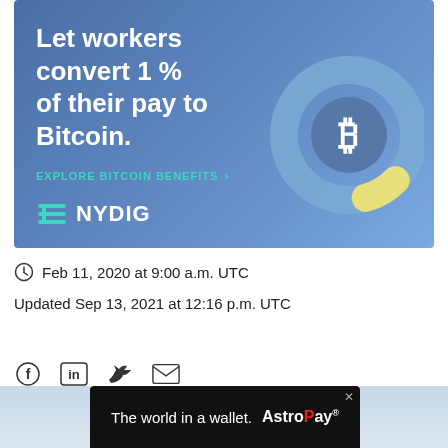[Figure (infographic): NYDIG advertisement banner with text 'Let workers convert 1 % of their pay to Bitcoin.' and a donut chart icon showing a small yellow slice representing 1% and larger blue slice, with Bitcoin symbol in center. EXPLORE BITCOIN BENEFITS link and NYDIG logo shown.]
Feb 11, 2020 at 9:00 a.m. UTC
Updated Sep 13, 2021 at 12:16 p.m. UTC
[Figure (infographic): Social sharing icons: Facebook (f), LinkedIn (in), Twitter bird, email envelope]
[Figure (infographic): Bottom advertisement banner: 'The world in a wallet. AstroPay' on dark background]